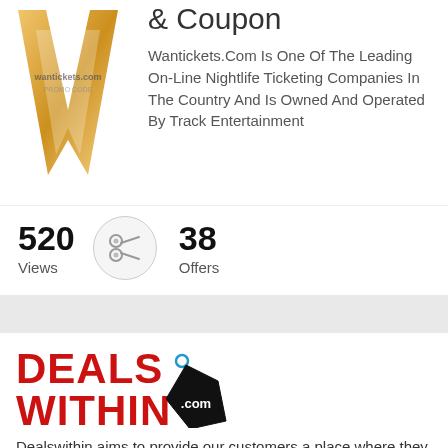[Figure (logo): WanTickets.com logo with gold W letter on white background]
& Coupon
Wantickets.Com Is One Of The Leading On-Line Nightlife Ticketing Companies In The Country And Is Owned And Operated By Track Entertainment
520 Views
38 Offers
[Figure (logo): DealsWithin.com logo in red bold text with black price tag graphic]
Dealswithin aims to provide our customers a place where they can look for all kind of promo codes and deals and